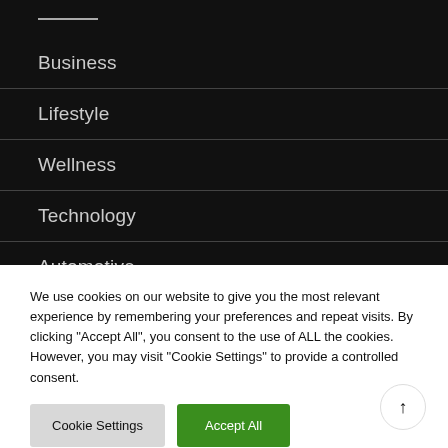Business
Lifestyle
Wellness
Technology
Automotive
We use cookies on our website to give you the most relevant experience by remembering your preferences and repeat visits. By clicking "Accept All", you consent to the use of ALL the cookies. However, you may visit "Cookie Settings" to provide a controlled consent.
Cookie Settings
Accept All